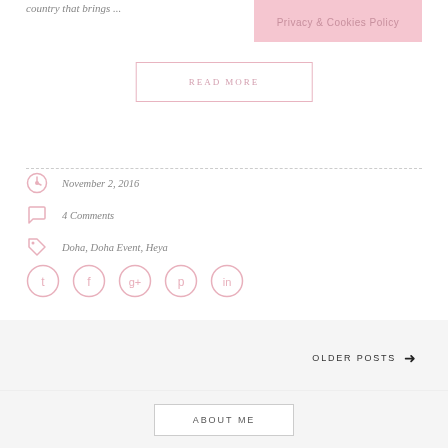country that brings ...
[Figure (other): Pink Privacy & Cookies Policy banner overlay]
READ MORE
November 2, 2016
4 Comments
Doha, Doha Event, Heya
[Figure (other): Social media icon buttons: Twitter, Facebook, Google+, Pinterest, LinkedIn]
OLDER POSTS →
ABOUT ME